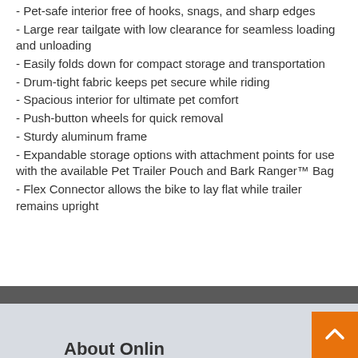- Pet-safe interior free of hooks, snags, and sharp edges
- Large rear tailgate with low clearance for seamless loading and unloading
- Easily folds down for compact storage and transportation
- Drum-tight fabric keeps pet secure while riding
- Spacious interior for ultimate pet comfort
- Push-button wheels for quick removal
- Sturdy aluminum frame
- Expandable storage options with attachment points for use with the available Pet Trailer Pouch and Bark Ranger™ Bag
- Flex Connector allows the bike to lay flat while trailer remains upright